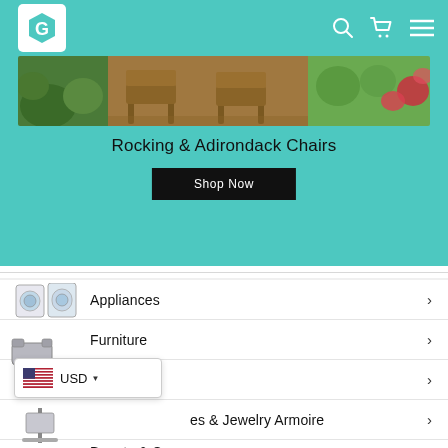[Figure (screenshot): E-commerce website screenshot showing a teal header with G logo, navigation icons, a banner for Rocking & Adirondack Chairs with outdoor furniture photo, Shop Now button, and category list below]
Rocking & Adirondack Chairs
Shop Now
Appliances
Furniture
Outdoor
es & Jewelry Armoire
Beauty & Care
USD